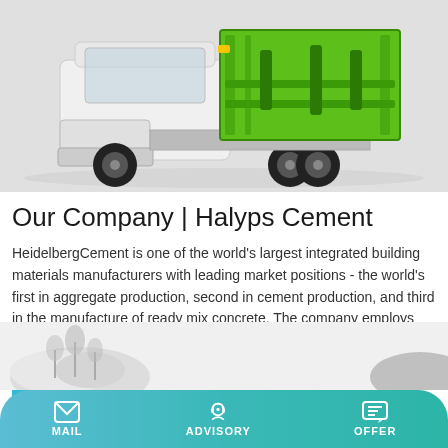[Figure (photo): A white heavy-duty truck with bright green hydraulic lift/hook equipment mounted on the back, photographed on a light gray background]
Our Company | Halyps Cement
HeidelbergCement is one of the world's largest integrated building materials manufacturers with leading market positions - the world's first in aggregate production, second in cement production, and third in the manufacture of ready mix concrete. The company employs around 57,000 people in more than 3,000 locations in more than 50 countries on
[Figure (illustration): Partial bottom image showing a snowy or rocky landscape, partially visible]
MAIL   ADVISORY   OFFER